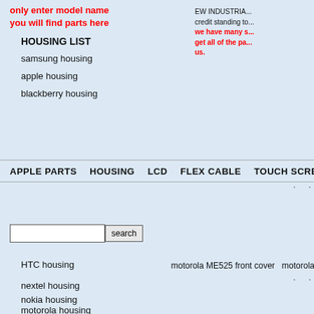EW INDUSTRIA... credit standing to... we have many s... get all of the pa... us.
APPLE PARTS   HOUSING   LCD   FLEX CABLE   TOUCH SCREEN   SPAR...
only enter model name you will find parts here
HOUSING LIST
samsung housing
apple housing
blackberry housing
HTC housing
nextel housing
nokia housing
motorola housing
sonyericsson housing
motorola ME525 front cover   motorola z6m ho...